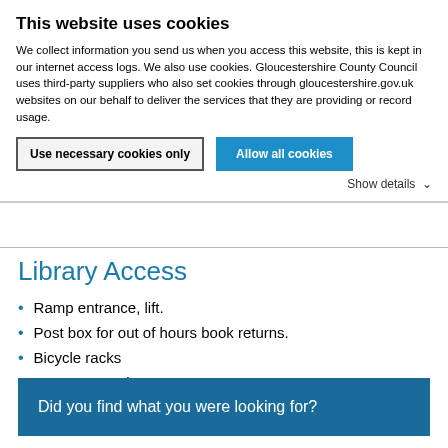This website uses cookies
We collect information you send us when you access this website, this is kept in our internet access logs. We also use cookies. Gloucestershire County Council uses third-party suppliers who also set cookies through gloucestershire.gov.uk websites on our behalf to deliver the services that they are providing or record usage.
Use necessary cookies only | Allow all cookies
Show details
Library Access
Ramp entrance, lift.
Post box for out of hours book returns.
Bicycle racks
Bus stop nearby
Did you find what you were looking for?